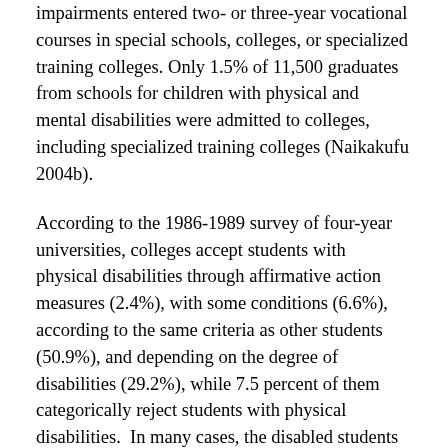impairments entered two- or three-year vocational courses in special schools, colleges, or specialized training colleges. Only 1.5% of 11,500 graduates from schools for children with physical and mental disabilities were admitted to colleges, including specialized training colleges (Naikakufu 2004b).
According to the 1986-1989 survey of four-year universities, colleges accept students with physical disabilities through affirmative action measures (2.4%), with some conditions (6.6%), according to the same criteria as other students (50.9%), and depending on the degree of disabilities (29.2%), while 7.5 percent of them categorically reject students with physical disabilities.  In many cases, the disabled students consult the admissions office at the university and the department before taking the entrance examination.  Private, large-scale denominational colleges, and those that have a tradition of accepting students with physical disabilities, tend to have a higher rate of